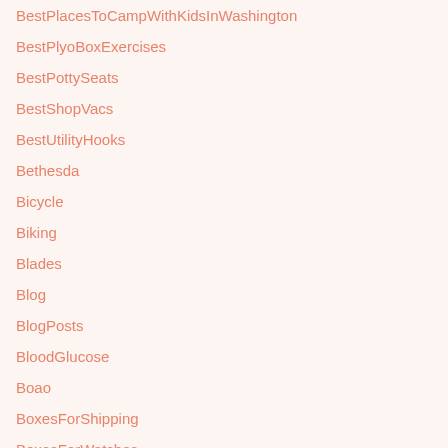BestPlacesToCampWithKidsInWashington
BestPlyoBoxExercises
BestPottySeats
BestShopVacs
BestUtilityHooks
Bethesda
Bicycle
Biking
Blades
Blog
BlogPosts
BloodGlucose
Boao
BoxesForShipping
BoxesForWatches